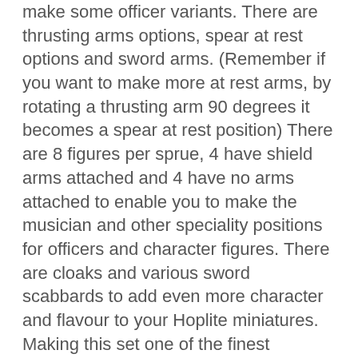make some officer variants. There are thrusting arms options, spear at rest options and sword arms. (Remember if you want to make more at rest arms, by rotating a thrusting arm 90 degrees it becomes a spear at rest position) There are 8 figures per sprue, 4 have shield arms attached and 4 have no arms attached to enable you to make the musician and other speciality positions for officers and character figures. There are cloaks and various sword scabbards to add even more character and flavour to your Hoplite miniatures. Making this set one of the finest detailed and versatile plastic sets on the market
This set can be mixed with all the parts from the other 3 Hoplite sets, Athenian, Theban and Mercenary which all have their own speciality heads and options to add yet more variety to your Greek armies.
Included in the box is a fantastic flyer produced for us by Great Escape Games giving you unit statistics for your Ancient Spartans to work with their Ancient Rules ?Clash